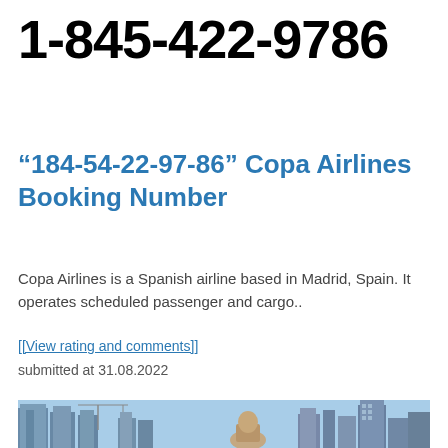1-845-422-9786
“184-54-22-97-86” Copa Airlines Booking Number
Copa Airlines is a Spanish airline based in Madrid, Spain. It operates scheduled passenger and cargo..
[[View rating and comments]]
submitted at 31.08.2022
[Figure (photo): City skyline with tall buildings and a person visible at bottom, photographed against a blue sky]